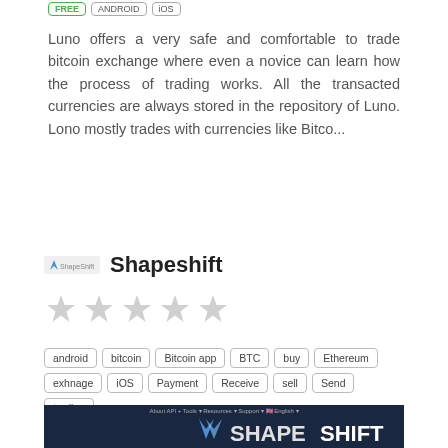FREE   ANDROID   iOS
Luno offers a very safe and comfortable to trade bitcoin exchange where even a novice can learn how the process of trading works. All the transacted currencies are always stored in the repository of Luno. Lono mostly trades with currencies like Bitco...
Shapeshift
[Figure (other): Five grey star rating icons (empty/unfilled stars)]
android | bitcoin | Bitcoin app | BTC | buy | Ethereum | exhnage | iOS | Payment | Receive | sell | Send | trading
[Figure (screenshot): Screenshot of the ShapeShift website homepage showing dark navy background with the ShapeShift fox logo and brand name in white and blue text, with navigation menu at top.]